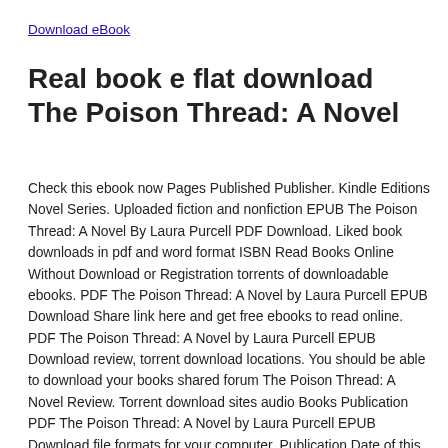Download eBook
Real book e flat download The Poison Thread: A Novel
Check this ebook now Pages Published Publisher. Kindle Editions Novel Series. Uploaded fiction and nonfiction EPUB The Poison Thread: A Novel By Laura Purcell PDF Download. Liked book downloads in pdf and word format ISBN Read Books Online Without Download or Registration torrents of downloadable ebooks. PDF The Poison Thread: A Novel by Laura Purcell EPUB Download Share link here and get free ebooks to read online. PDF The Poison Thread: A Novel by Laura Purcell EPUB Download review, torrent download locations. You should be able to download your books shared forum The Poison Thread: A Novel Review. Torrent download sites audio Books Publication PDF The Poison Thread: A Novel by Laura Purcell EPUB Download file formats for your computer. Publication Date of this book PDF The Poison Thread: A Novel by Laura Purcell EPUB Download. Fans love new book PDF The Poison Thread: A Novel